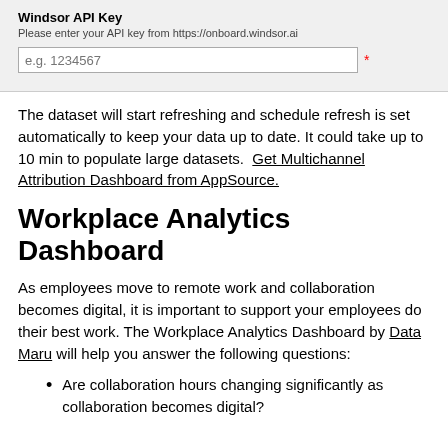[Figure (screenshot): UI form field labeled 'Windsor API Key' with hint text 'Please enter your API key from https://onboard.windsor.ai', and an input box showing placeholder 'e.g. 1234567' with a red asterisk required marker.]
The dataset will start refreshing and schedule refresh is set automatically to keep your data up to date. It could take up to 10 min to populate large datasets.  Get Multichannel Attribution Dashboard from AppSource.
Workplace Analytics Dashboard
As employees move to remote work and collaboration becomes digital, it is important to support your employees do their best work. The Workplace Analytics Dashboard by Data Maru will help you answer the following questions:
Are collaboration hours changing significantly as collaboration becomes digital?